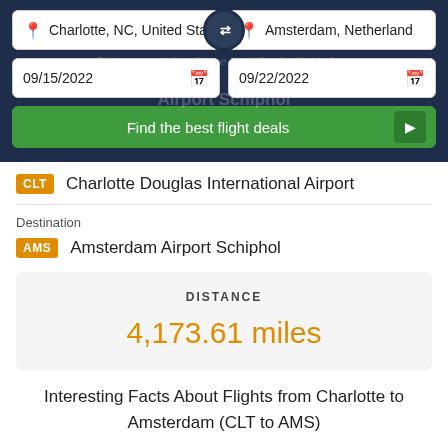Charlotte, NC, United Sta...
Amsterdam, Netherland...
09/15/2022
09/22/2022
Find the best flight deals
CLT  Charlotte Douglas International Airport
Destination
AMS  Amsterdam Airport Schiphol
DISTANCE
4,173.61 miles
Interesting Facts About Flights from Charlotte to Amsterdam (CLT to AMS)